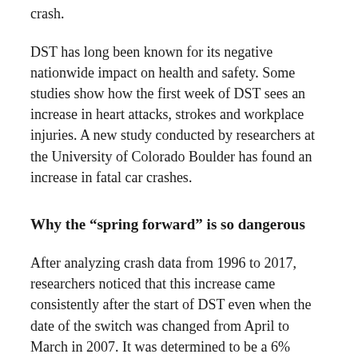crash.
DST has long been known for its negative nationwide impact on health and safety. Some studies show how the first week of DST sees an increase in heart attacks, strokes and workplace injuries. A new study conducted by researchers at the University of Colorado Boulder has found an increase in fatal car crashes.
Why the “spring forward” is so dangerous
After analyzing crash data from 1996 to 2017, researchers noticed that this increase came consistently after the start of DST even when the date of the switch was changed from April to March in 2007. It was determined to be a 6% increase: In other words, every year there are